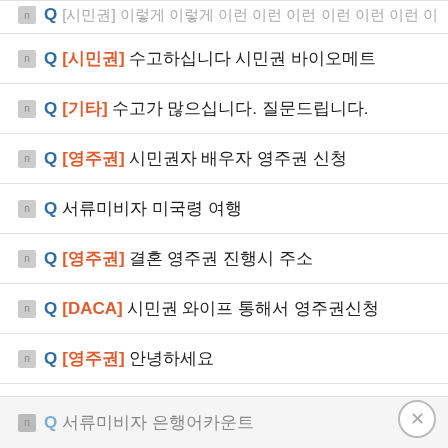Q [시민권] 수고하십니다 시민권 바이오메트...
Q [기타] 수고가 많으십니다. 질문드립니다.
Q [영주권] 시민권자 배우자 영주권 신청
Q 서류미비자 미국령 여행
Q [영주권] 결혼 영주권 진행시 주소
Q [DACA] 시민권 와이프 통해서 영주권신청...
Q [영주권] 안녕하세요
Q [학생비자] 졸업증명서 질문올립니다
Q 서류미비자 은행어카운트